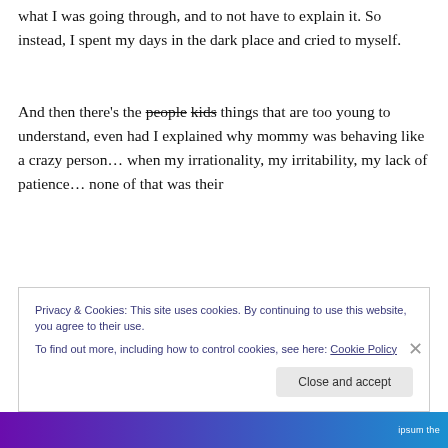what I was going through, and to not have to explain it. So instead, I spent my days in the dark place and cried to myself.
And then there's the people kids things that are too young to understand, even had I explained why mommy was behaving like a crazy person... when my irrationality, my irritability, my lack of patience... none of that was their
Privacy & Cookies: This site uses cookies. By continuing to use this website, you agree to their use. To find out more, including how to control cookies, see here: Cookie Policy